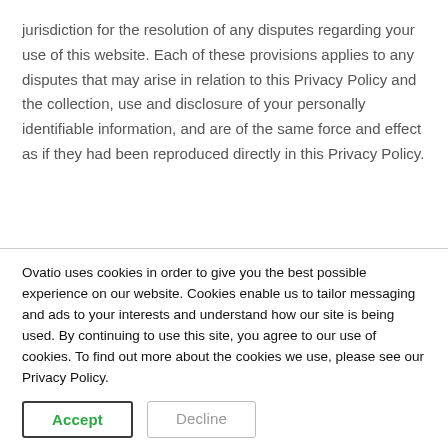jurisdiction for the resolution of any disputes regarding your use of this website. Each of these provisions applies to any disputes that may arise in relation to this Privacy Policy and the collection, use and disclosure of your personally identifiable information, and are of the same force and effect as if they had been reproduced directly in this Privacy Policy.
Ovatio uses cookies in order to give you the best possible experience on our website. Cookies enable us to tailor messaging and ads to your interests and understand how our site is being used. By continuing to use this site, you agree to our use of cookies. To find out more about the cookies we use, please see our Privacy Policy.
Accept | Decline